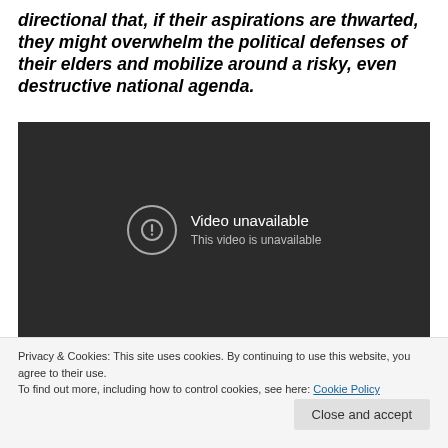directional that, if their aspirations are thwarted, they might overwhelm the political defenses of their elders and mobilize around a risky, even destructive national agenda.
[Figure (screenshot): Embedded video player showing 'Video unavailable - This video is unavailable' error message on dark background]
Privacy & Cookies: This site uses cookies. By continuing to use this website, you agree to their use.
To find out more, including how to control cookies, see here: Cookie Policy